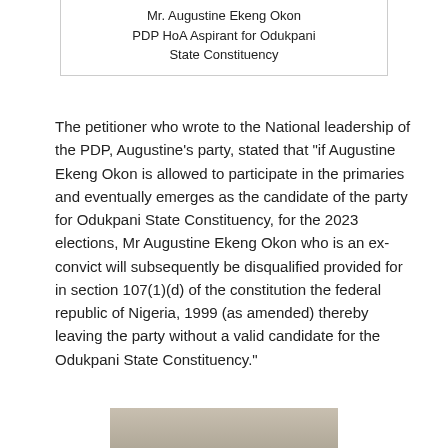Mr. Augustine Ekeng Okon
PDP HoA Aspirant for Odukpani State Constituency
The petitioner who wrote to the National leadership of the PDP, Augustine's party, stated that "if Augustine Ekeng Okon is allowed to participate in the primaries and eventually emerges as the candidate of the party for Odukpani State Constituency, for the 2023 elections, Mr Augustine Ekeng Okon who is an ex-convict will subsequently be disqualified provided for in section 107(1)(d) of the constitution the federal republic of Nigeria, 1999 (as amended) thereby leaving the party without a valid candidate for the Odukpani State Constituency."
[Figure (photo): Partial photo strip visible at bottom of page]